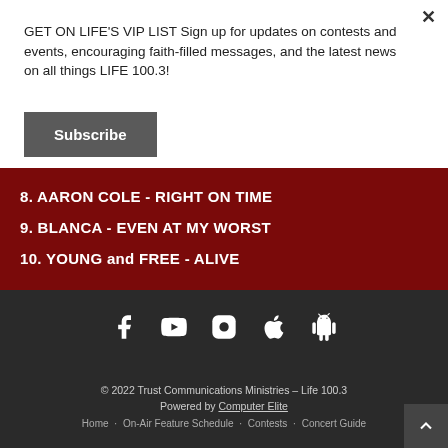GET ON LIFE'S VIP LIST Sign up for updates on contests and events, encouraging faith-filled messages, and the latest news on all things LIFE 100.3!
Subscribe
8. AARON COLE - RIGHT ON TIME
9. BLANCA - EVEN AT MY WORST
10. YOUNG and FREE - ALIVE
[Figure (infographic): Social media icons: Facebook, YouTube, Instagram, Apple, Android]
© 2022 Trust Communications Ministries – Life 100.3 Powered by Computer Elite Home · On-Air Feature Schedule · Contests · Concert Guide